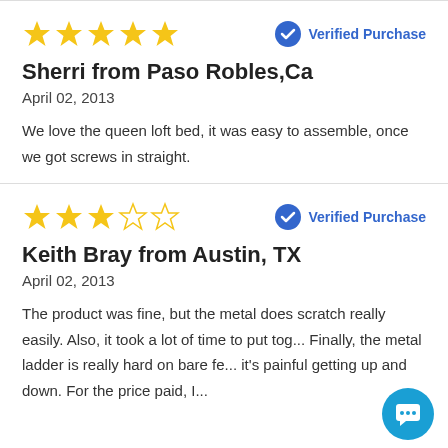★★★★★ — Verified Purchase — Sherri from Paso Robles,Ca — April 02, 2013 — We love the queen loft bed, it was easy to assemble, once we got screws in straight.
★★★☆☆ — Verified Purchase — Keith Bray from Austin, TX — April 02, 2013 — The product was fine, but the metal does scratch really easily. Also, it took a lot of time to put tog... Finally, the metal ladder is really hard on bare fe... it's painful getting up and down. For the price paid, I...